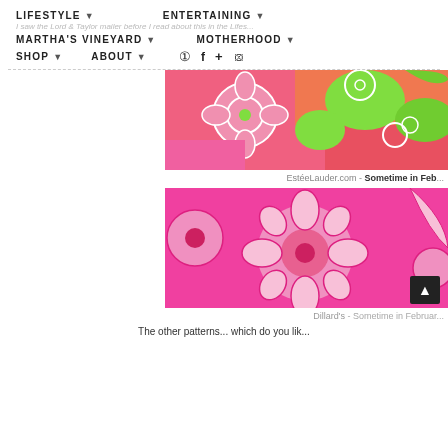LIFESTYLE ▾   ENTERTAINING ▾
MARTHA'S VINEYARD ▾   MOTHERHOOD ▾
SHOP ▾   ABOUT ▾   [instagram] [facebook] [+] [pinterest]
I saw the Lord & Taylor mailer before I read about this in the Lifest...
[Figure (photo): Lilly Pulitzer floral print fabric swatch in pink, coral, and bright green with white flower outlines — Estee Lauder collaboration]
EsteeLauder.com - Sometime in Feb...
[Figure (photo): Lilly Pulitzer floral print fabric swatch in hot pink and light pink with large flower designs — Dillard's collaboration]
Dillard's - Sometime in Februar...
The other patterns... which do you lik...